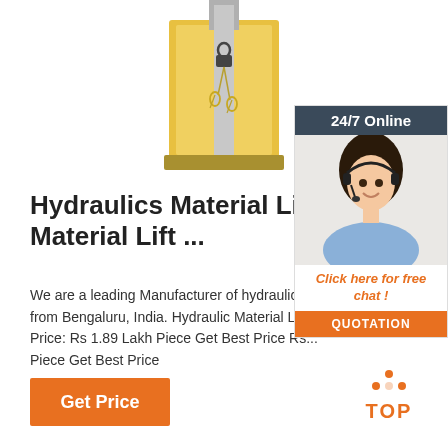[Figure (photo): Close-up photo of a yellow/gold hydraulic material lift with metal keys hanging from a lock]
[Figure (infographic): 24/7 Online chat widget with a customer service representative wearing a headset, with 'Click here for free chat!' and QUOTATION button]
Hydraulics Material Lift - Hydraulic Material Lift ...
We are a leading Manufacturer of hydraulic material lift from Bengaluru, India. Hydraulic Material Lift Price: Rs 1.89 Lakh Piece Get Best Price Rs ... Piece Get Best Price
[Figure (logo): TOP logo with orange dots arranged in a triangle above the word TOP in orange]
Get Price